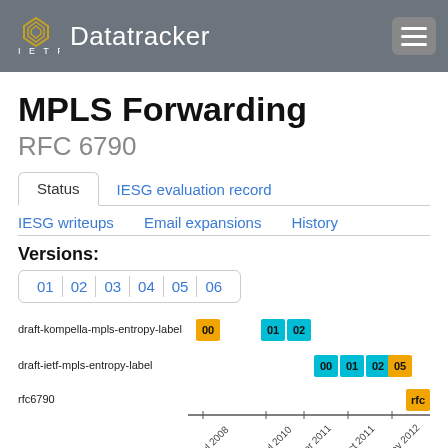IETF Datatracker
MPLS Forwarding
RFC 6790
Status | IESG evaluation record
IESG writeups   Email expansions   History
Versions:
01 02 03 04 05 06
[Figure (other): Timeline chart showing draft versions for draft-kompella-mpls-entropy-label (versions 00, 01, 02), draft-ietf-mpls-entropy-label (versions 00, 01, 02, 03, 05), and rfc6790, plotted against time axis from Jul 2008 to May 2012]